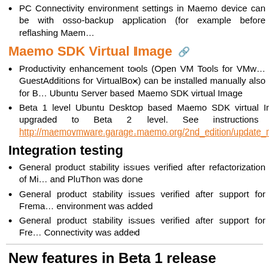PC Connectivity environment settings in Maemo device can be with osso-backup application (for example before reflashing Maem…
Maemo SDK Virtual Image
Productivity enhancement tools (Open VM Tools for VMw… GuestAdditions for VirtualBox) can be installed manually also for B… Ubuntu Server based Maemo SDK virtual Image
Beta 1 level Ubuntu Desktop based Maemo SDK virtual Imag… upgraded to Beta 2 level. See instructions fro… http://maemovmware.garage.maemo.org/2nd_edition/update_mae…
Integration testing
General product stability issues verified after refactorization of Mi… and PluThon was done
General product stability issues verified after support for Frema… environment was added
General product stability issues verified after support for Fre… Connectivity was added
New features in Beta 1 release (2.0.0M4, w… 2009)